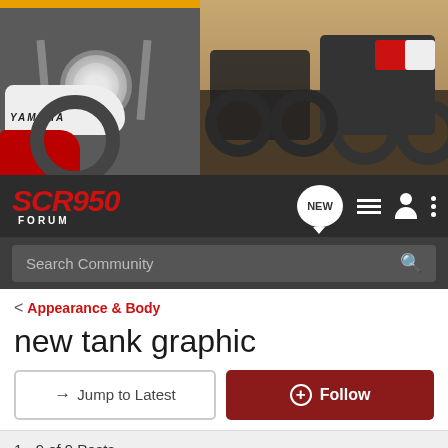[Figure (photo): Banner image showing Yamaha SCR950 motorcycles — a red and white classic-style bike on the left, and two scrambler-style bikes on a rocky outdoor setting on the right.]
SCR950 FORUM
Search Community
< Appearance & Body
new tank graphic
→ Jump to Latest
+ Follow
1 - 9 of 9 Posts
Burke · Registered
Joined Dec 10, 2017 · 315 Posts